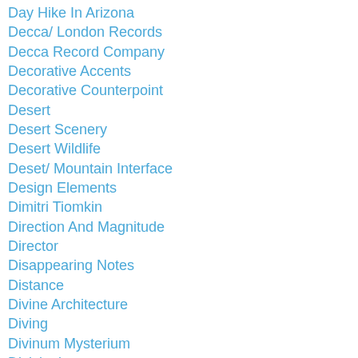Day Hike In Arizona
Decca/ London Records
Decca Record Company
Decorative Accents
Decorative Counterpoint
Desert
Desert Scenery
Desert Wildlife
Deset/ Mountain Interface
Design Elements
Dimitri Tiomkin
Direction And Magnitude
Director
Disappearing Notes
Distance
Divine Architecture
Diving
Divinum Mysterium
Divisionism
Documentaries
Dorothy McGuire